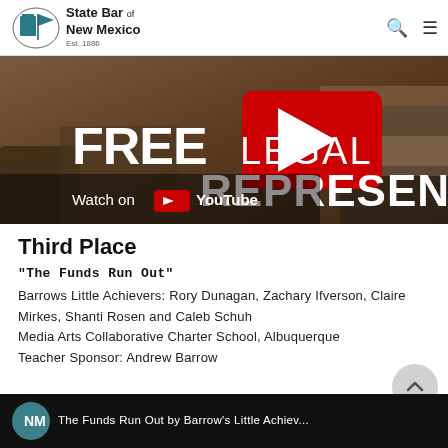State Bar of New Mexico Est. 1886
[Figure (screenshot): YouTube video thumbnail showing 'FREE LEGAL REPRESENTATION' text overlaid on a classroom/office background with a red YouTube play button, and 'Watch on YouTube' label]
Third Place
"The Funds Run Out"
Barrows Little Achievers: Rory Dunagan, Zachary Ifverson, Claire Mirkes, Shanti Rosen and Caleb Schuh
Media Arts Collaborative Charter School, Albuquerque
Teacher Sponsor: Andrew Barrow
[Figure (screenshot): Bottom YouTube video thumbnail for 'The Funds Run Out by Barrow's Little Achievers' with a teal circle logo on dark background]